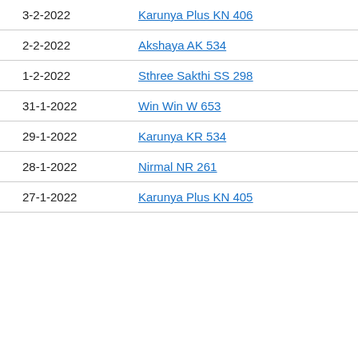3-2-2022   Karunya Plus KN 406
2-2-2022   Akshaya AK 534
1-2-2022   Sthree Sakthi SS 298
31-1-2022   Win Win W 653
29-1-2022   Karunya KR 534
28-1-2022   Nirmal NR 261
27-1-2022   Karunya Plus KN 405